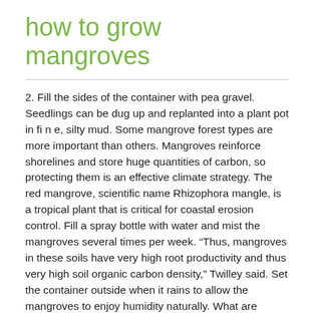how to grow mangroves
2. Fill the sides of the container with pea gravel. Seedlings can be dug up and replanted into a plant pot in fi n e, silty mud. Some mangrove forest types are more important than others. Mangroves reinforce shorelines and store huge quantities of carbon, so protecting them is an effective climate strategy. The red mangrove, scientific name Rhizophora mangle, is a tropical plant that is critical for coastal erosion control. Fill a spray bottle with water and mist the mangroves several times per week. “Thus, mangroves in these soils have very high root productivity and thus very high soil organic carbon density,” Twilley said. Set the container outside when it rains to allow the mangroves to enjoy humidity naturally. What are mangroves? Check the container frequently to make sure it still contains water. Growing where land and water meet, mangroves bear the brunt of